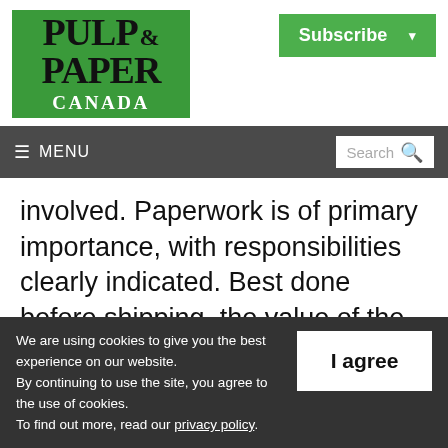[Figure (logo): Pulp & Paper Canada logo on green background]
[Figure (other): Subscribe button with dropdown arrow]
≡ MENU  Search 🔍
involved. Paperwork is of primary importance, with responsibilities clearly indicated. Best done before shipping, the value of the goods should be established and accepted by the
We are using cookies to give you the best experience on our website.
By continuing to use the site, you agree to the use of cookies.
To find out more, read our privacy policy.